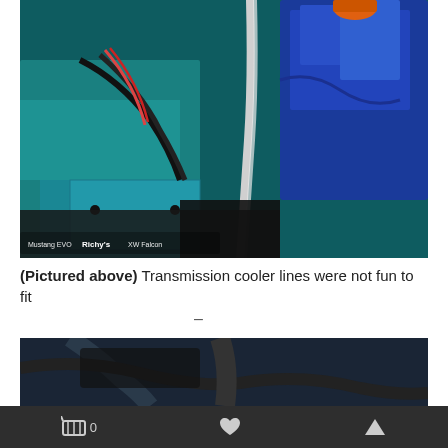[Figure (photo): Close-up photo of transmission cooler lines installation in a vehicle engine bay, showing teal/blue painted components, wiring, and chrome cooling lines. Watermark reads 'Mustang EVO Richy's XW Falcon']
(Pictured above) Transmission cooler lines were not fun to fit
–
[Figure (photo): Partial photo showing dark vehicle components, appears to be continuation of engine bay documentation]
0 [cart icon] [heart icon] [up arrow icon]